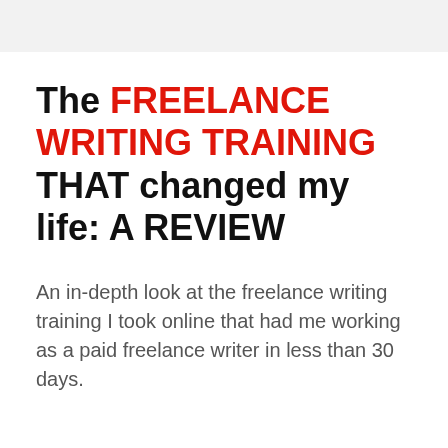The FREELANCE WRITING TRAINING THAT changed my life: A REVIEW
An in-depth look at the freelance writing training I took online that had me working as a paid freelance writer in less than 30 days.